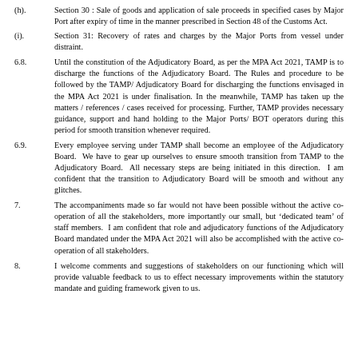(h).      Section 30 : Sale of goods and application of sale proceeds in specified cases by Major Port after expiry of time in the manner prescribed in Section 48 of the Customs Act.
(i).      Section 31: Recovery of rates and charges by the Major Ports from vessel under distraint.
6.8.      Until the constitution of the Adjudicatory Board, as per the MPA Act 2021, TAMP is to discharge the functions of the Adjudicatory Board. The Rules and procedure to be followed by the TAMP/ Adjudicatory Board for discharging the functions envisaged in the MPA Act 2021 is under finalisation. In the meanwhile, TAMP has taken up the matters / references / cases received for processing. Further, TAMP provides necessary guidance, support and hand holding to the Major Ports/ BOT operators during this period for smooth transition whenever required.
6.9.      Every employee serving under TAMP shall become an employee of the Adjudicatory Board.  We have to gear up ourselves to ensure smooth transition from TAMP to the Adjudicatory Board.  All necessary steps are being initiated in this direction.  I am confident that the transition to Adjudicatory Board will be smooth and without any glitches.
7.        The accompaniments made so far would not have been possible without the active co-operation of all the stakeholders, more importantly our small, but 'dedicated team' of staff members.  I am confident that role and adjudicatory functions of the Adjudicatory Board mandated under the MPA Act 2021 will also be accomplished with the active co-operation of all stakeholders.
8.           I welcome comments and suggestions of stakeholders on our functioning which will provide valuable feedback to us to effect necessary improvements within the statutory mandate and guiding framework given to us.